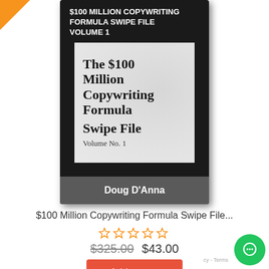[Figure (photo): Book cover for '$100 Million Copywriting Formula Swipe File Volume 1' by Doug D'Anna. Black cover with inner white panel showing title text and author bar.]
$100 Million Copywriting Formula Swipe File...
[Figure (other): 5 empty star rating icons in gold/orange outline]
$325.00  $43.00
Add to cart